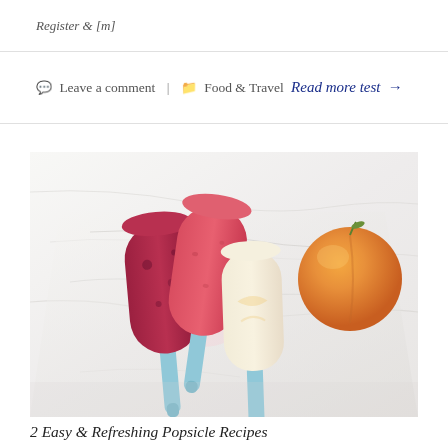Register & [m]
Leave a comment | Food & Travel Read more test →
[Figure (photo): Three colorful popsicles with light blue sticks arranged on a white marble surface, alongside a fresh peach. The popsicles include a dark berry/red variety, a pink strawberry variety, and a white/peach cream variety.]
2 Easy & Refreshing Popsicle Recipes